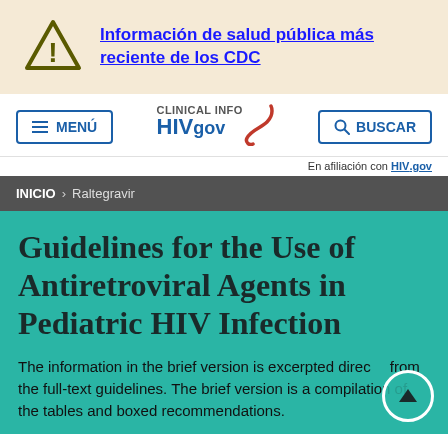[Figure (infographic): CDC public health information banner with warning triangle icon and Spanish text link 'Información de salud pública más reciente de los CDC' on a light beige/yellow background]
[Figure (logo): Clinical Info HIVgov navigation bar with menu button, HIVgov logo with red swoosh, and search button. Affiliation note: 'En afiliación con HIV.gov']
INICIO > Raltegravir
Guidelines for the Use of Antiretroviral Agents in Pediatric HIV Infection
The information in the brief version is excerpted directly from the full-text guidelines. The brief version is a compilation of the tables and boxed recommendations.